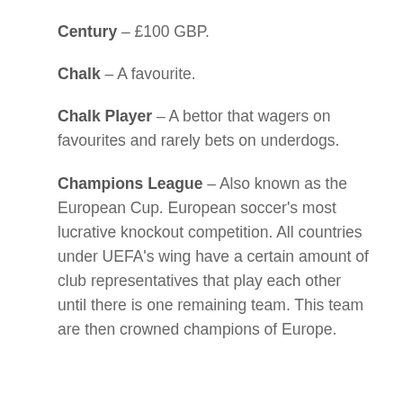Century – £100 GBP.
Chalk – A favourite.
Chalk Player – A bettor that wagers on favourites and rarely bets on underdogs.
Champions League – Also known as the European Cup. European soccer's most lucrative knockout competition. All countries under UEFA's wing have a certain amount of club representatives that play each other until there is one remaining team. This team are then crowned champions of Europe.